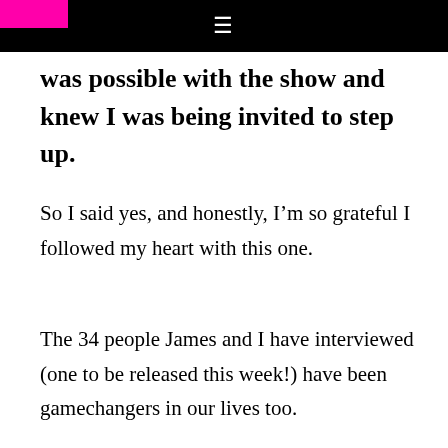≡
was possible with the show and knew I was being invited to step up.
So I said yes, and honestly, I'm so grateful I followed my heart with this one.
The 34 people James and I have interviewed (one to be released this week!) have been gamechangers in our lives too.